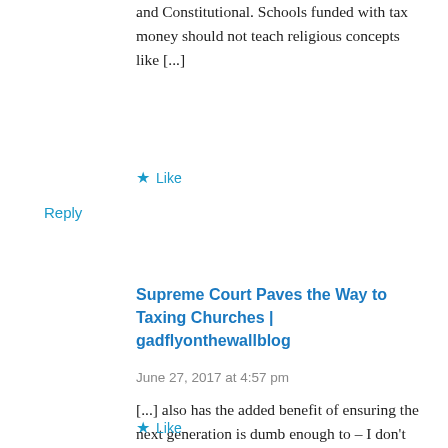and Constitutional. Schools funded with tax money should not teach religious concepts like [...]
★ Like
Reply
Supreme Court Paves the Way to Taxing Churches | gadflyonthewallblog
June 27, 2017 at 4:57 pm
[...] also has the added benefit of ensuring the next generation is dumb enough to – I don't know – continue voting for reality TV stars as [...]
★ Like